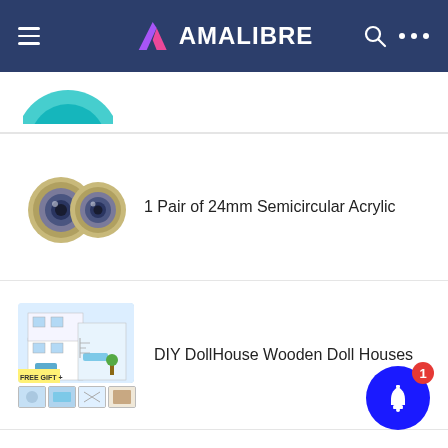AMALIBRE
[Figure (screenshot): Partial product image — teal/blue fluffy object, partially visible at top]
1 Pair of 24mm Semicircular Acrylic
DIY DollHouse Wooden Doll Houses
15…Material Hair Accessories for Dol…